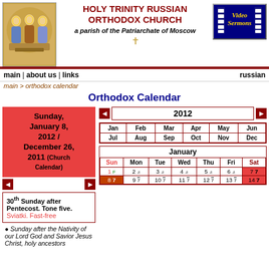HOLY TRINITY RUSSIAN ORTHODOX CHURCH
a parish of the Patriarchate of Moscow
[Figure (logo): Video Sermons logo button]
[Figure (illustration): Russian Orthodox icon of the Holy Trinity]
main | about us | links    russian
main > orthodox calendar
Orthodox Calendar
Sunday, January 8, 2012 / December 26, 2011 (Church Calendar)
2012
30th Sunday after Pentecost. Tone five. Sviatki. Fast-free
Sunday after the Nativity of our Lord God and Savior Jesus Christ, holy ancestors
| Jan | Feb | Mar | Apr | May | Jun | Jul | Aug | Sep | Oct | Nov | Dec |
| --- | --- | --- | --- | --- | --- | --- | --- | --- | --- | --- | --- |
| Sun | Mon | Tue | Wed | Thu | Fri | Sat |
| --- | --- | --- | --- | --- | --- | --- |
| 1 F | 2 | 3 | 4 | 5 | 6 | 7 |
| 8 7 | 9 7 | 10 7 | 11 7 | 12 7 | 13 7 | 14 7 |